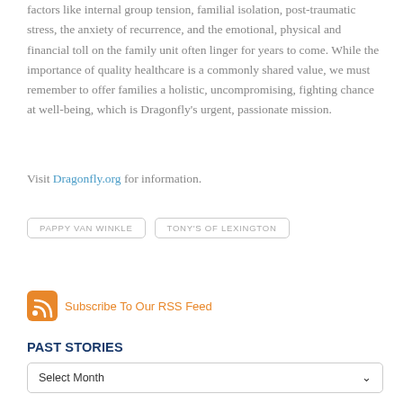factors like internal group tension, familial isolation, post-traumatic stress, the anxiety of recurrence, and the emotional, physical and financial toll on the family unit often linger for years to come. While the importance of quality healthcare is a commonly shared value, we must remember to offer families a holistic, uncompromising, fighting chance at well-being, which is Dragonfly's urgent, passionate mission.
Visit Dragonfly.org for information.
PAPPY VAN WINKLE
TONY'S OF LEXINGTON
Subscribe To Our RSS Feed
PAST STORIES
Select Month